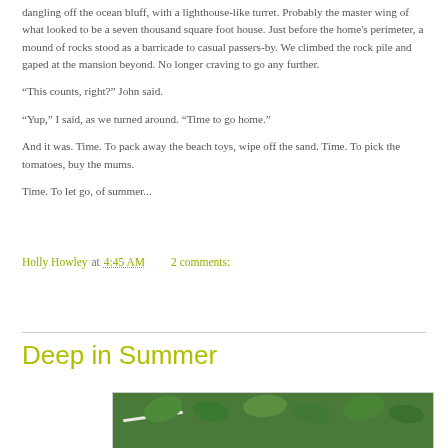dangling off the ocean bluff, with a lighthouse-like turret. Probably the master wing of what looked to be a seven thousand square foot house. Just before the home's perimeter, a mound of rocks stood as a barricade to casual passers-by. We climbed the rock pile and gaped at the mansion beyond. No longer craving to go any further.
“This counts, right?” John said.
“Yup,” I said, as we turned around. “Time to go home.”
And it was. Time. To pack away the beach toys, wipe off the sand. Time. To pick the tomatoes, buy the mums.
Time. To let go, of summer...
Holly Howley at 4:45 AM   2 comments:
Share
Deep in Summer
[Figure (photo): Photo of green leafy plants, likely a garden scene with foliage]